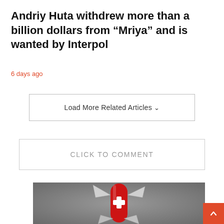Andriy Huta withdrew more than a billion dollars from “Mriya” and is wanted by Interpol
6 days ago
Load More Related Articles ∨
CLICK TO COMMENT
[Figure (photo): A red Swiss Army knife with tools extended, set against a grey gradient background]